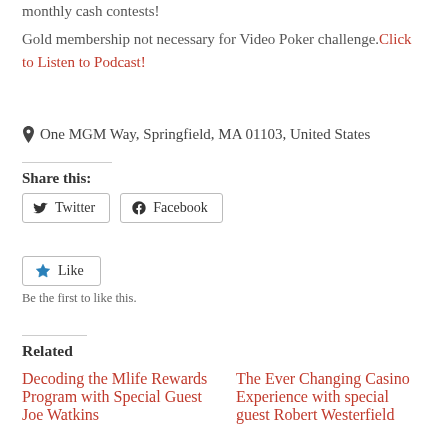monthly cash contests!
Gold membership not necessary for Video Poker challenge. Click to Listen to Podcast!
📍 One MGM Way, Springfield, MA 01103, United States
Share this:
Twitter  Facebook
Like  Be the first to like this.
Related
Decoding the Mlife Rewards Program with Special Guest Joe Watkins
The Ever Changing Casino Experience with special guest Robert Westerfield